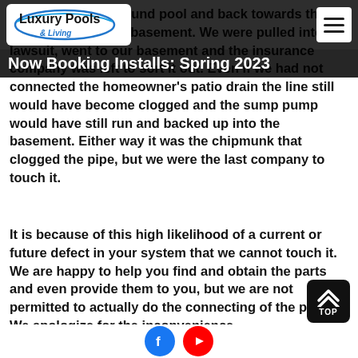Luxury Pools & Living — Now Booking Installs: Spring 2023
went into the in ground pool and back towards the house and into the basement. We were pulled into a lawsuit, went to our basement and the insurance company was left to sort it out. Even if we had not connected the homeowner's patio drain the line still would have become clogged and the sump pump would have still run and backed up into the basement. Either way it was the chipmunk that clogged the pipe, but we were the last company to touch it.
It is because of this high likelihood of a current or future defect in your system that we cannot touch it. We are happy to help you find and obtain the parts and even provide them to you, but we are not permitted to actually do the connecting of the pipes. We apologize for the inconvenience.
[Figure (logo): TOP scroll-to-top button (black rounded square with upward chevron arrows and TOP label)]
[Figure (infographic): Facebook and YouTube social media icons at the bottom of the page]